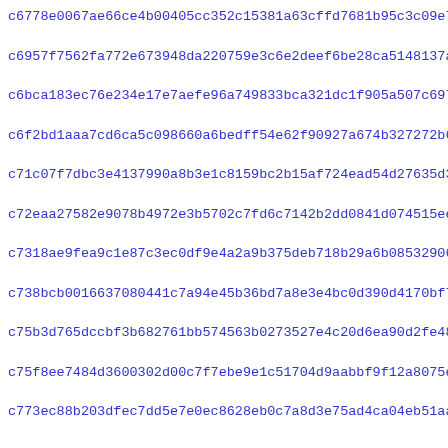c6778e0067ae66ce4b00405cc352c15381a63cffd7681b95c3c09e7fb8193
c6957f7562fa772e673948da220759e3c6e2deef6be28ca5148137acbe6a4
c6bca183ec76e234e17e7aefe96a749833bca321dc1f905a507c697ecb80d
c6f2bd1aaa7cd6ca5c098660a6bedff54e62f90927a674b327272b6d017e7
c71c07f7dbc3e4137990a8b3e1c8159bc2b15af724ead54d27635d338f456
c72eaa27582e9078b4972e3b5702c7fd6c7142b2dd0841d074515ee435524
c7318ae9fea9c1e87c3ec0df9e4a2a9b375deb718b29a6b08532906f70a19
c738bcb0016637080441c7a94e45b36bd7a8e3e4bc0d390d4170bf702a386
c75b3d765dccbf3b682761bb574563b0273527e4c20d6ea90d2fe481868cf
c75f8ee7484d3600302d00c7f7ebe9e1c51704d9aabbf9f12a8075e06d0f3
c773ec88b203dfec7dd5e7e0ec8628eb0c7a8d3e75ad4ca04eb51aaaadc3b